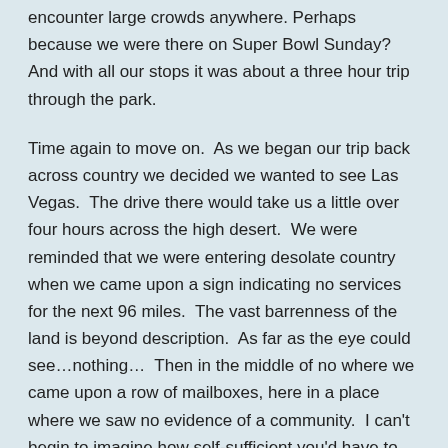encounter large crowds anywhere. Perhaps because we were there on Super Bowl Sunday? And with all our stops it was about a three hour trip through the park.
Time again to move on.  As we began our trip back across country we decided we wanted to see Las Vegas.  The drive there would take us a little over four hours across the high desert.  We were reminded that we were entering desolate country when we came upon a sign indicating no services for the next 96 miles.  The vast barrenness of the land is beyond description.  As far as the eye could see…nothing…  Then in the middle of no where we came upon a row of mailboxes, here in a place where we saw no evidence of a community.  I can't begin to imagine how self-sufficient you'd have to be to live here.  Surprisingly, and perhaps reassuring, we regularly encountered vehicles traveling in both directions.